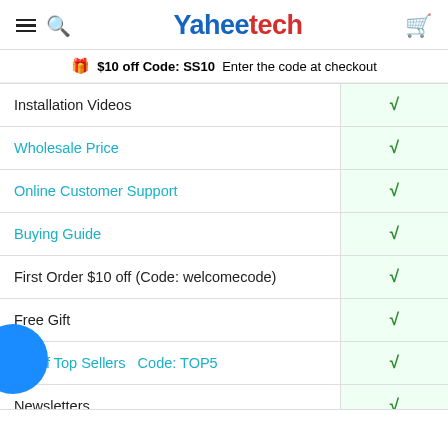Yaheetech
$10 off Code: SS10  Enter the code at checkout
| Feature | ✓ |
| --- | --- |
| Installation Videos | √ |
| Wholesale Price | √ |
| Online Customer Support | √ |
| Buying Guide | √ |
| First Order $10 off (Code: welcomecode) | √ |
| Free Gift | √ |
| $5 off Top Sellers   Code: TOP5 | √ |
| Newsletters | √ |